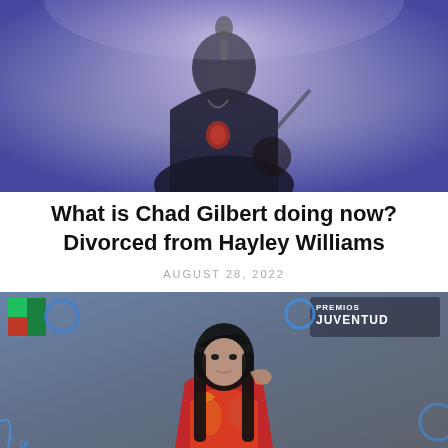[Figure (photo): Photo of a person (Chad Gilbert) performing or posing, with a purple/blue stage lighting background, wearing a dark jacket, with a guitar visible]
What is Chad Gilbert doing now? Divorced from Hayley Williams
AUGUST 28, 2022
[Figure (photo): Photo of a woman with black hair and bangs wearing a colorful outfit, standing in front of a Premios Juventud backdrop with Univision logo]